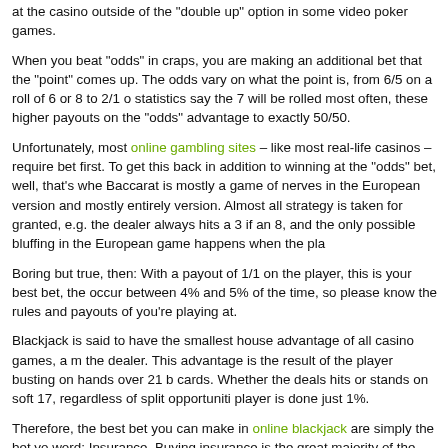at the casino outside of the "double up" option in some video poker games.
When you beat "odds" in craps, you are making an additional bet that the "point" comes up. The odds vary on what the point is, from 6/5 on a roll of 6 or 8 to 2/1 on statistics say the 7 will be rolled most often, these higher payouts on the "odds" advantage to exactly 50/50.
Unfortunately, most online gambling sites – like most real-life casinos – require bet first. To get this back in addition to winning at the "odds" bet, well, that's whe Baccarat is mostly a game of nerves in the European version and mostly entirely version. Almost all strategy is taken for granted, e.g. the dealer always hits a 3 if an 8, and the only possible bluffing in the European game happens when the pla
Boring but true, then: With a payout of 1/1 on the player, this is your best bet, the occur between 4% and 5% of the time, so please know the rules and payouts of you're playing at.
Blackjack is said to have the smallest house advantage of all casino games, a m the dealer. This advantage is the result of the player busting on hands over 21 b cards. Whether the deals hits or stands on soft 17, regardless of split opportuniti player is done just 1%.
Therefore, the best bet you can make in online blackjack are simply the bet yo word: Insurance. Buying insurance is the great majority of the time throwing awa extra bet does nothing to swing any odds in your favor. Steadily buying insuranc expected number of times, just decreases your bankroll.
While the house is believed to always win, this need not necessarily be the case